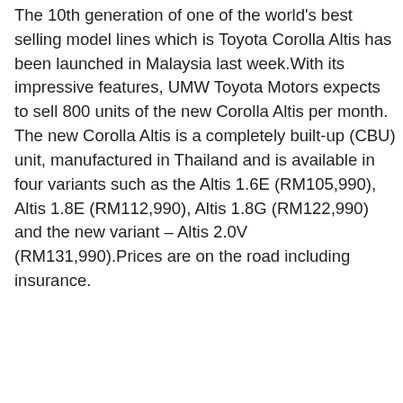The 10th generation of one of the world's best selling model lines which is Toyota Corolla Altis has been launched in Malaysia last week.With its impressive features, UMW Toyota Motors expects to sell 800 units of the new Corolla Altis per month. The new Corolla Altis is a completely built-up (CBU) unit, manufactured in Thailand and is available in four variants such as the Altis 1.6E (RM105,990), Altis 1.8E (RM112,990), Altis 1.8G (RM122,990) and the new variant – Altis 2.0V (RM131,990).Prices are on the road including insurance.